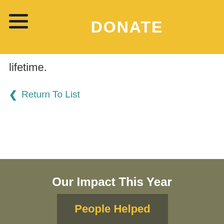DONATE
lifetime.
< Return To List
Our Impact This Year
People Helped